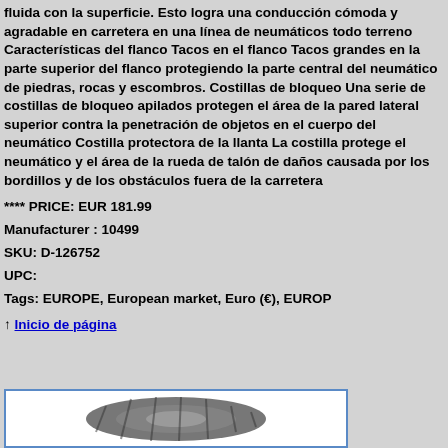fluida con la superficie. Esto logra una conducción cómoda y agradable en carretera en una línea de neumáticos todo terreno Características del flanco Tacos en el flanco Tacos grandes en la parte superior del flanco protegiendo la parte central del neumático de piedras, rocas y escombros. Costillas de bloqueo Una serie de costillas de bloqueo apilados protegen el área de la pared lateral superior contra la penetración de objetos en el cuerpo del neumático Costilla protectora de la llanta La costilla protege el neumático y el área de la rueda de talón de daños causada por los bordillos y de los obstáculos fuera de la carretera
**** PRICE: EUR 181.99
Manufacturer : 10499
SKU: D-126752
UPC:
Tags: EUROPE, European market, Euro (€), EUROP...
↑ Inicio de página
[Figure (photo): Partial view of a tire at the bottom of the page inside a bordered white box]